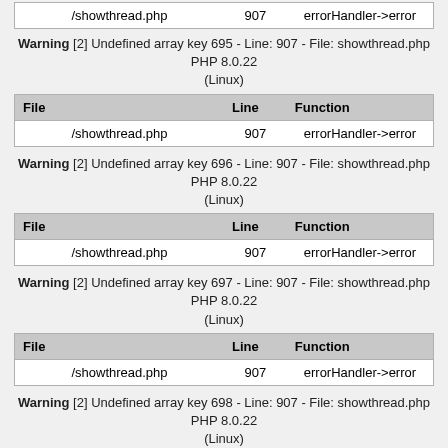| /showthread.php | 907 | errorHandler->error |
Warning [2] Undefined array key 695 - Line: 907 - File: showthread.php PHP 8.0.22 (Linux)
| File | Line | Function |
| --- | --- | --- |
| /showthread.php | 907 | errorHandler->error |
Warning [2] Undefined array key 696 - Line: 907 - File: showthread.php PHP 8.0.22 (Linux)
| File | Line | Function |
| --- | --- | --- |
| /showthread.php | 907 | errorHandler->error |
Warning [2] Undefined array key 697 - Line: 907 - File: showthread.php PHP 8.0.22 (Linux)
| File | Line | Function |
| --- | --- | --- |
| /showthread.php | 907 | errorHandler->error |
Warning [2] Undefined array key 698 - Line: 907 - File: showthread.php PHP 8.0.22 (Linux)
| File | Line | Function |
| --- | --- | --- |
| /showthread.php | 907 | errorHandler->error |
Warning [2] Undefined array key 699 - Line: 907 - File: showthread.php PHP 8.0.22 (Linux)